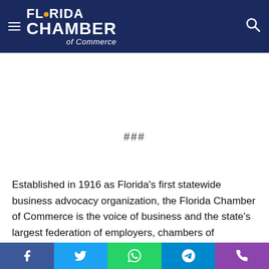[Figure (logo): Florida Chamber of Commerce logo — white bold text on dark navy background with hamburger menu icon on left and search icon on right]
###
Established in 1916 as Florida's first statewide business advocacy organization, the Florida Chamber of Commerce is the voice of business and the state's largest federation of employers, chambers of commerce and associations, aggressively representing small and large businesses from every industry and every region. The Florida Chamber works
[Figure (infographic): Social sharing bar with Facebook, Twitter, WhatsApp, Telegram, and phone icons]